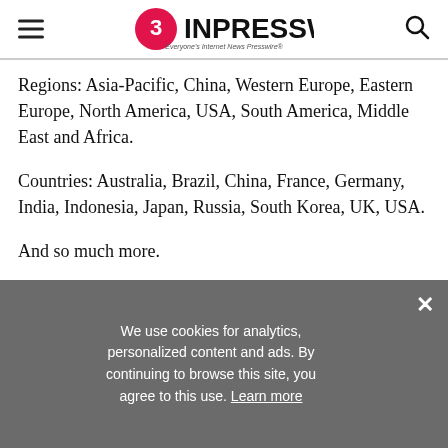EINPresswire — Everyone's Internet News Presswire
Regions: Asia-Pacific, China, Western Europe, Eastern Europe, North America, USA, South America, Middle East and Africa.
Countries: Australia, Brazil, China, France, Germany, India, Indonesia, Japan, Russia, South Korea, UK, USA.
And so much more.
Looking for something else? Here is a list of similar reports by The Business Research Company...
We use cookies for analytics, personalized content and ads. By continuing to browse this site, you agree to this use. Learn more